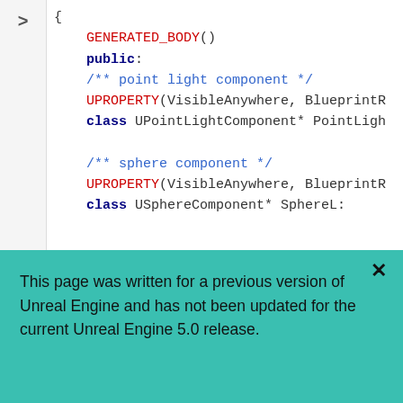[Figure (screenshot): Code snippet showing a C++ class definition with GENERATED_BODY(), public: section, point light component comment, UPROPERTY macro, class UPointLightComponent* PointLigh..., sphere component comment, UPROPERTY macro, class USphereComponent* SphereL:]
In the source file for LightSwitchBoth, the constructor remains the same. However, a change needs to be made to the OnOverlapBegin and OnOverlapEnd functions.
This page was written for a previous version of Unreal Engine and has not been updated for the current Unreal Engine 5.0 release.